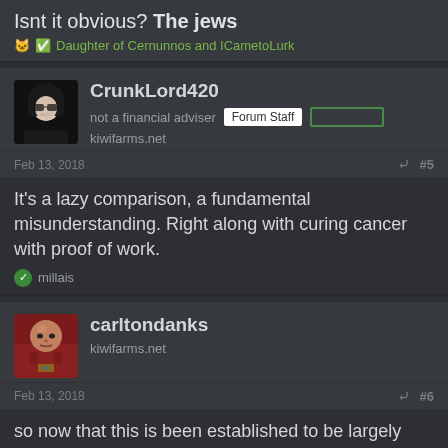Isnt it obvious? The jews
🐱✅ Daughter of Cernunnos and ICametoLurk
CrunkLord420
not a financial adviser | Forum Staff | [green badge]
kiwifarms.net
Feb 13, 2018  #5
It's a lazy comparison, a fundamental misunderstanding. Right along with curing cancer with proof of work.
✅ millais
carltondanks
kiwifarms.net
Feb 13, 2018  #6
so now that this is been established to be largely exaggerated and untrue, are we going to see cryptos